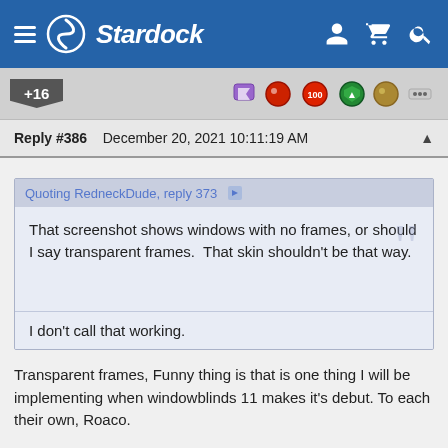Stardock
+16
Reply #386    December 20, 2021 10:11:19 AM
Quoting RedneckDude, reply 373
That screenshot shows windows with no frames, or should I say transparent frames.  That skin shouldn't be that way.

I don't call that working.
Transparent frames, Funny thing is that is one thing I will be implementing when windowblinds 11 makes it's debut. To each their own, Roaco.